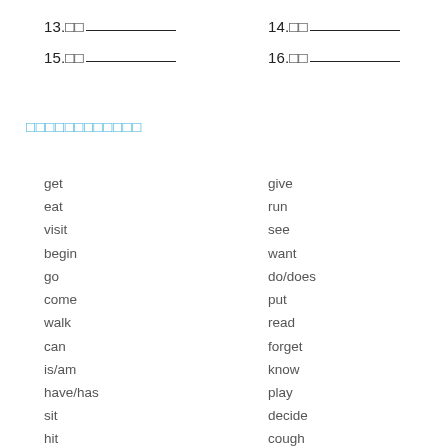13.□□________
14.□□________
15.□□________
16.□□________
□□□□□□□□□□□□
get
give
eat
run
visit
see
begin
want
go
do/does
come
put
walk
read
can
forget
is/am
know
have/has
play
sit
decide
hit
cough
make
win
look
breathe